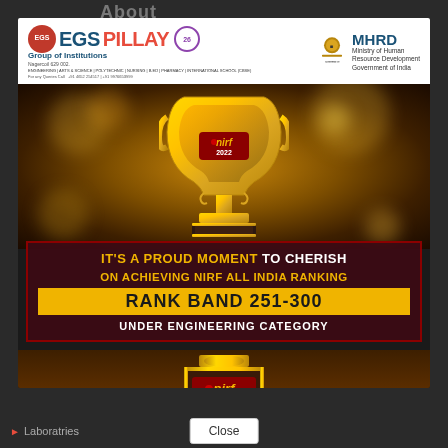About
[Figure (infographic): EGS Pillay Group of Institutions promotional banner showing NIRF 2022 ranking achievement. Features the EGS Pillay logo, MHRD logo, golden trophy with NIRF 2022, text 'IT'S A PROUD MOMENT TO CHERISH ON ACHIEVING NIRF ALL INDIA RANKING RANK BAND 251-300 UNDER ENGINEERING CATEGORY', and a second NIRF India Rankings 2022 trophy plaque at the bottom.]
MANAGEMENT THANKS ALL STAKEHOLDERS, STAFF & STUDENTS
Laboratries
Close